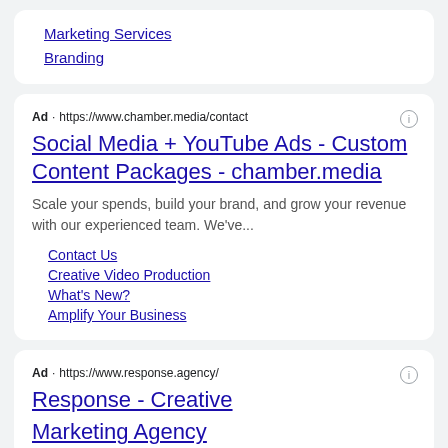Marketing Services
Branding
Ad · https://www.chamber.media/contact
Social Media + YouTube Ads - Custom Content Packages - chamber.media
Scale your spends, build your brand, and grow your revenue with our experienced team. We've...
Contact Us
Creative Video Production
What's New?
Amplify Your Business
Ad · https://www.response.agency/
Response - Creative Marketing Agency